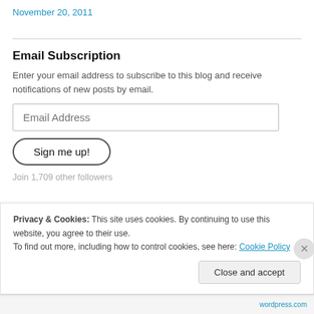November 20, 2011
Email Subscription
Enter your email address to subscribe to this blog and receive notifications of new posts by email.
Email Address
Sign me up!
Join 1,709 other followers
Privacy & Cookies: This site uses cookies. By continuing to use this website, you agree to their use.
To find out more, including how to control cookies, see here: Cookie Policy
Close and accept